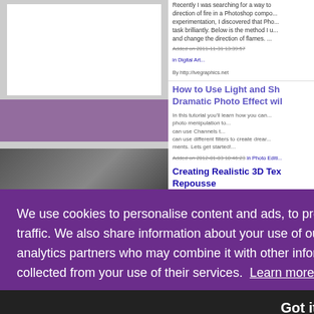Recently I was searching for a way to change the direction of fire in a Photoshop composition. After some experimentation, I discovered that Photoshop handles this task brilliantly. Below is the method I used to generate and change the direction of flames. ...
Added on 2011-11-31 13:39:57 in Digital Art...
By http://ivegraphics.net
How to Use Light and Shadow to Create a Dramatic Photo Effect with...
In this tutorial you'll learn how you can apply photo manipulation to... can use Channels to... can use different filters to create dream... ments. Lets get started!...
Added on 2012-01-03 10:46:23 in Photo Editing...
Creating Realistic 3D Text with Repousse
Nothing says 'Eye Candy' like a great... can make a poster, book cover or mag... the past we've had to resort to 3rd pa... elements so that we could incorporato...
We use cookies to personalise content and ads, to provide social media features and to analyse our traffic. We also share information about your use of our site with our social media, advertising and analytics partners who may combine it with other information you've provided to them or they've collected from your use of their services.  Learn more
Got it!